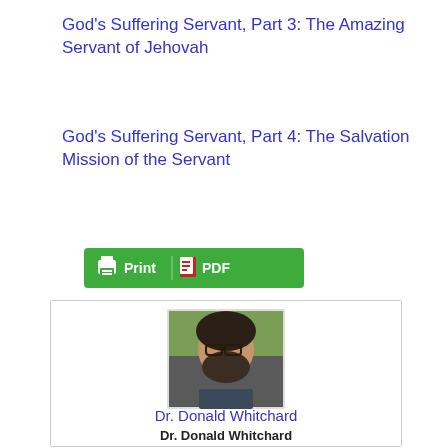God's Suffering Servant, Part 3: The Amazing Servant of Jehovah
God's Suffering Servant, Part 4: The Salvation Mission of the Servant
[Figure (screenshot): Green button with printer icon labeled 'Print' and PDF icon labeled 'PDF']
[Figure (photo): Profile photo of Dr. Donald Whitchard, a bearded man with glasses wearing a dark shirt, in a card widget]
Dr. Donald Whitchard
Dr. Donald Whitchard